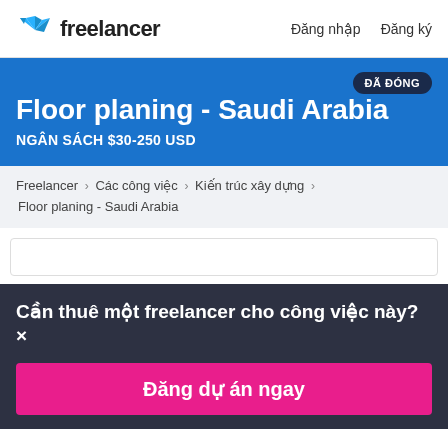Freelancer — Đăng nhập  Đăng ký
Floor planing - Saudi Arabia
NGÂN SÁCH $30-250 USD
ĐÃ ĐÓNG
Freelancer › Các công việc › Kiến trúc xây dựng › Floor planing - Saudi Arabia
Cần thuê một freelancer cho công việc này? ×
Đăng dự án ngay